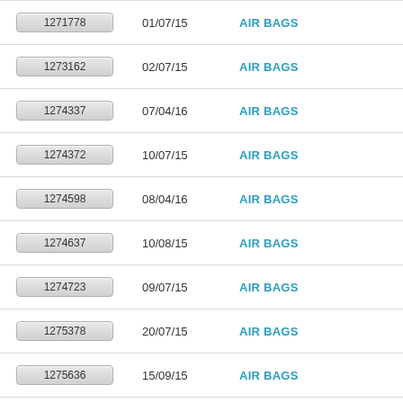| ID | Date | Category |
| --- | --- | --- |
| 1271778 | 01/07/15 | AIR BAGS |
| 1273162 | 02/07/15 | AIR BAGS |
| 1274337 | 07/04/16 | AIR BAGS |
| 1274372 | 10/07/15 | AIR BAGS |
| 1274598 | 08/04/16 | AIR BAGS |
| 1274637 | 10/08/15 | AIR BAGS |
| 1274723 | 09/07/15 | AIR BAGS |
| 1275378 | 20/07/15 | AIR BAGS |
| 1275636 | 15/09/15 | AIR BAGS |
| 1275917 | 13/01/16 | AIR BAGS |
| 1276543 | 15/04/16 | AIR BAGS |